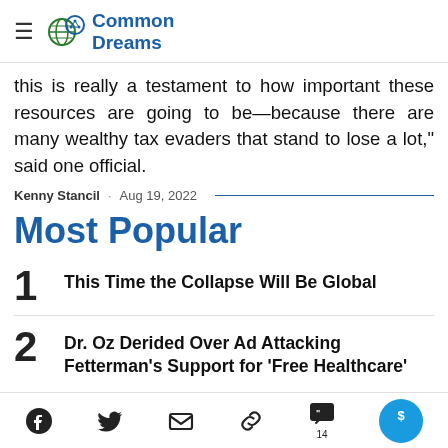Common Dreams
this is really a testament to how important these resources are going to be—because there are many wealthy tax evaders that stand to lose a lot," said one official.
Kenny Stancil · Aug 19, 2022
Most Popular
1 This Time the Collapse Will Be Global
2 Dr. Oz Derided Over Ad Attacking Fetterman's Support for 'Free Healthcare'
Social share icons: Facebook, Twitter, Email, Link, Comments (14), GIVE